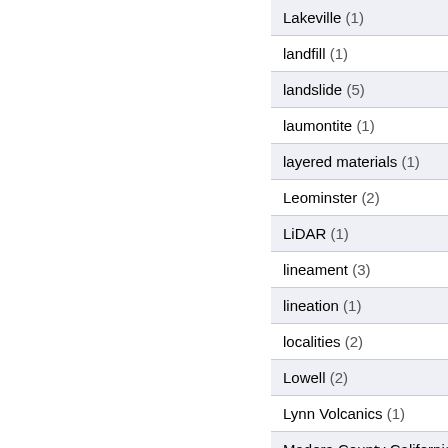| Term (count) |
| --- |
| Lakeville (1) |
| landfill (1) |
| landslide (5) |
| laumontite (1) |
| layered materials (1) |
| Leominster (2) |
| LiDAR (1) |
| lineament (3) |
| lineation (1) |
| localities (2) |
| Lowell (2) |
| Lynn Volcanics (1) |
| Madera County California (2) |
| Maine; (1) |
| Manchester by the Sea (1) |
| maps (10) |